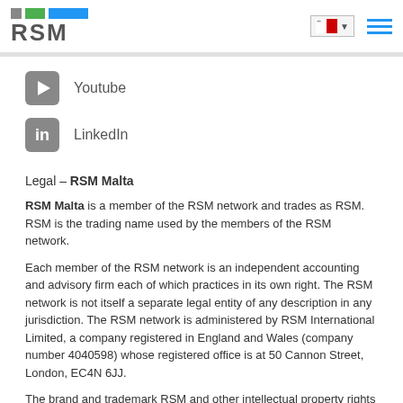RSM
Youtube
LinkedIn
Legal – RSM Malta
RSM Malta is a member of the RSM network and trades as RSM. RSM is the trading name used by the members of the RSM network.
Each member of the RSM network is an independent accounting and advisory firm each of which practices in its own right. The RSM network is not itself a separate legal entity of any description in any jurisdiction. The RSM network is administered by RSM International Limited, a company registered in England and Wales (company number 4040598) whose registered office is at 50 Cannon Street, London, EC4N 6JJ.
The brand and trademark RSM and other intellectual property rights used by